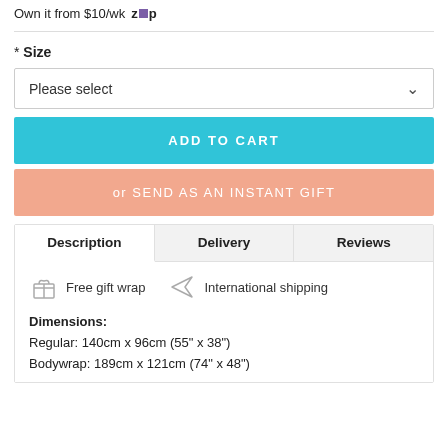Own it from $10/wk zip
* Size
Please select
ADD TO CART
or SEND AS AN INSTANT GIFT
| Description | Delivery | Reviews |
| --- | --- | --- |
Free gift wrap   International shipping
Dimensions:
Regular: 140cm x 96cm (55" x 38")
Bodywrap: 189cm x 121cm (74" x 48")